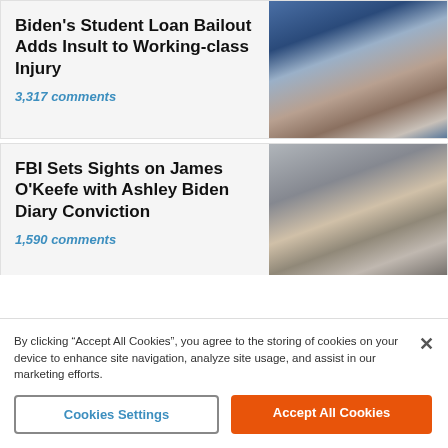Biden's Student Loan Bailout Adds Insult to Working-class Injury
3,317 comments
[Figure (photo): Photo of an older man gesturing with his hand in front of a blue background with partial text 'ITE']
FBI Sets Sights on James O'Keefe with Ashley Biden Diary Conviction
1,590 comments
[Figure (photo): Photo of a younger man in a dark suit with a tie]
By clicking “Accept All Cookies”, you agree to the storing of cookies on your device to enhance site navigation, analyze site usage, and assist in our marketing efforts.
Cookies Settings
Accept All Cookies